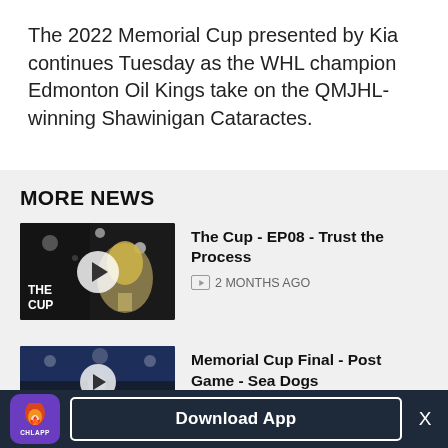The 2022 Memorial Cup presented by Kia continues Tuesday as the WHL champion Edmonton Oil Kings take on the QMJHL-winning Shawinigan Cataractes.
MORE NEWS
[Figure (screenshot): Thumbnail image of 'The Cup' trophy video with play button overlay and 'THE CUP' label]
The Cup - EP08 - Trust the Process
2 MONTHS AGO
[Figure (screenshot): Thumbnail image of Memorial Cup Final post-game video with play button overlay showing arena crowd]
Memorial Cup Final - Post Game - Sea Dogs
[Figure (logo): CHL App icon - purple background with CHL flame logo and 'CHLAPP' label]
Download App
X